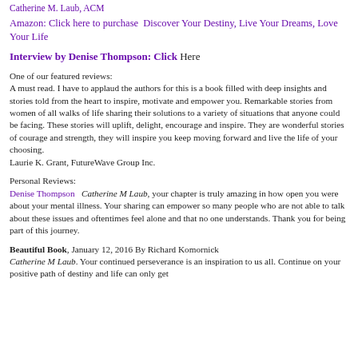Catherine M. Laub, ACM
Amazon: Click here to purchase  Discover Your Destiny, Live Your Dreams, Love Your Life
Interview by Denise Thompson: Click Here
One of our featured reviews:
A must read. I have to applaud the authors for this is a book filled with deep insights and stories told from the heart to inspire, motivate and empower you. Remarkable stories from women of all walks of life sharing their solutions to a variety of situations that anyone could be facing. These stories will uplift, delight, encourage and inspire. They are wonderful stories of courage and strength, they will inspire you keep moving forward and live the life of your choosing.
Laurie K. Grant, FutureWave Group Inc.
Personal Reviews:
Denise Thompson   Catherine M Laub, your chapter is truly amazing in how open you were about your mental illness. Your sharing can empower so many people who are not able to talk about these issues and oftentimes feel alone and that no one understands. Thank you for being part of this journey.
Beautiful Book, January 12, 2016 By Richard Komornick
Catherine M Laub. Your continued perseverance is an inspiration to us all. Continue on your positive path of destiny and life can only get